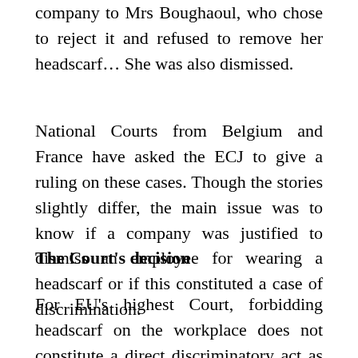company to Mrs Boughaoul, who chose to reject it and refused to remove her headscarf… She was also dismissed.
National Courts from Belgium and France have asked the ECJ to give a ruling on these cases. Though the stories slightly differ, the main issue was to know if a company was justified to dismiss an employee for wearing a headscarf or if this constituted a case of discrimination.
The Court's decision
For EU's highest Court, forbidding headscarf on the workplace does not constitute a direct discriminatory act as long as the internal rule of the company proscribes any visible political